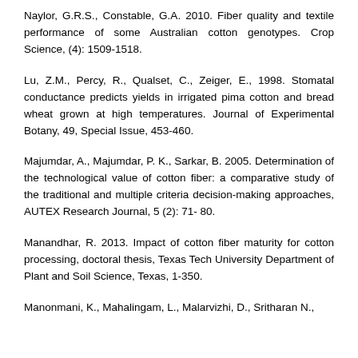Naylor, G.R.S., Constable, G.A. 2010. Fiber quality and textile performance of some Australian cotton genotypes. Crop Science, (4): 1509-1518.
Lu, Z.M., Percy, R., Qualset, C., Zeiger, E., 1998. Stomatal conductance predicts yields in irrigated pima cotton and bread wheat grown at high temperatures. Journal of Experimental Botany, 49, Special Issue, 453-460.
Majumdar, A., Majumdar, P. K., Sarkar, B. 2005. Determination of the technological value of cotton fiber: a comparative study of the traditional and multiple criteria decision-making approaches, AUTEX Research Journal, 5 (2): 71- 80.
Manandhar, R. 2013. Impact of cotton fiber maturity for cotton processing, doctoral thesis, Texas Tech University Department of Plant and Soil Science, Texas, 1-350.
Manonmani, K., Mahalingam, L., Malarvizhi, D., Sritharan N.,